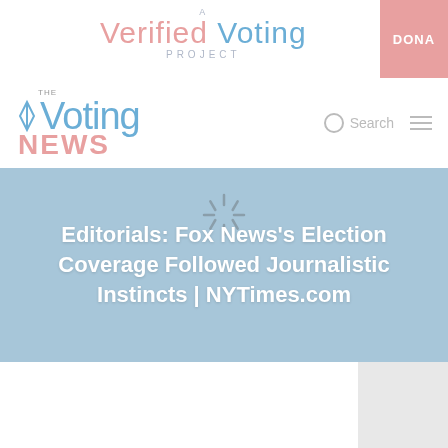[Figure (logo): A Verified Voting Project logo with pink 'Verified' and blue 'Voting' text, and a pink DONATE button on the right]
[Figure (logo): The Voting News logo with blue 'Voting' and pink 'NEWS' text, with a search icon and hamburger menu on the right]
Editorials: Fox News's Election Coverage Followed Journalistic Instincts | NYTimes.com